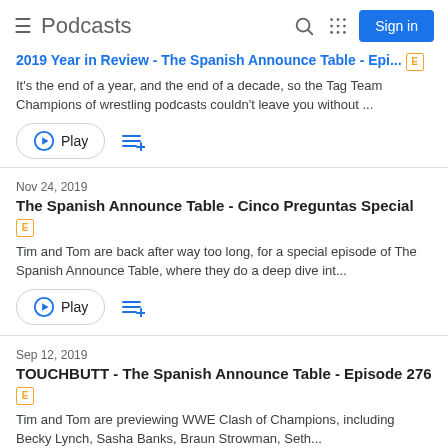Podcasts
2019 Year in Review - The Spanish Announce Table - Epi... [E]
It's the end of a year, and the end of a decade, so the Tag Team Champions of wrestling podcasts couldn't leave you without ...
Nov 24, 2019
The Spanish Announce Table - Cinco Preguntas Special [E]
Tim and Tom are back after way too long, for a special episode of The Spanish Announce Table, where they do a deep dive int...
Sep 12, 2019
TOUCHBUTT - The Spanish Announce Table - Episode 276 [E]
Tim and Tom are previewing WWE Clash of Champions, including Becky Lynch, Sasha Banks, Braun Strowman, Seth...